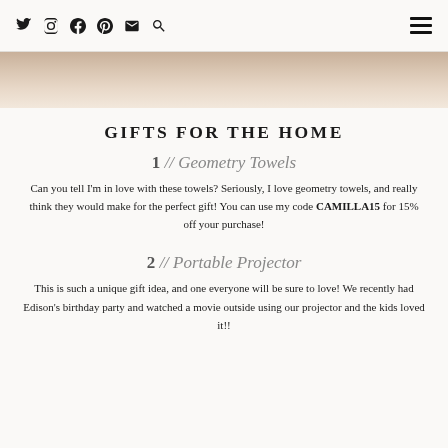Social icons: Twitter, Instagram, Facebook, Pinterest, Email, Search | Hamburger menu
[Figure (photo): Hero photo showing what appears to be a circular woven/rattan item on a light background, cropped at top of page]
GIFTS FOR THE HOME
1 // Geometry Towels
Can you tell I'm in love with these towels? Seriously, I love geometry towels, and really think they would make for the perfect gift! You can use my code CAMILLA15 for 15% off your purchase!
2 // Portable Projector
This is such a unique gift idea, and one everyone will be sure to love! We recently had Edison's birthday party and watched a movie outside using our projector and the kids loved it!!